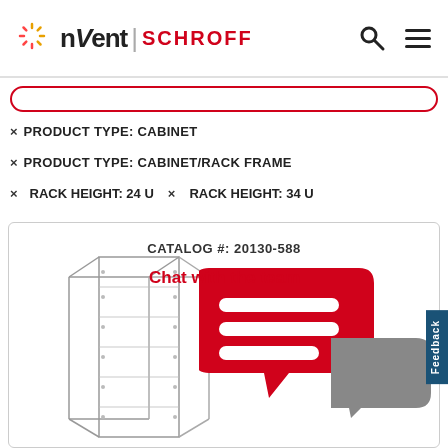nvent | SCHROFF
× PRODUCT TYPE: CABINET
× PRODUCT TYPE: CABINET/RACK FRAME
× RACK HEIGHT: 24 U    × RACK HEIGHT: 34 U
[Figure (screenshot): Product card showing CATALOG #: 20130-588 with a rack frame illustration and a 'Chat with the team' overlay featuring red speech bubble icons on top of the rack image]
Feedback